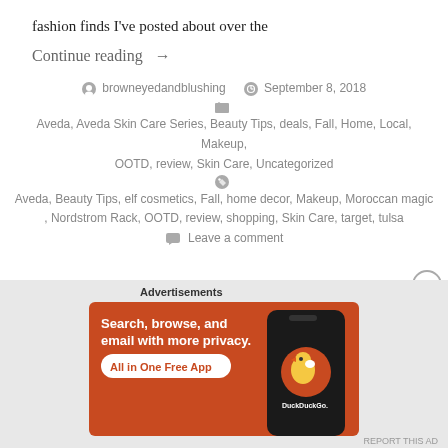fashion finds I've posted about over the
Continue reading →
browneyedblushing   September 8, 2018
Aveda, Aveda Skin Care Series, Beauty Tips, deals, Fall, Home, Local, Makeup, OOTD, review, Skin Care, Uncategorized
Aveda, Beauty Tips, elf cosmetics, Fall, home decor, Makeup, Moroccan magic, Nordstrom Rack, OOTD, review, shopping, Skin Care, target, tulsa
Leave a comment
[Figure (screenshot): DuckDuckGo advertisement banner: orange background with text 'Search, browse, and email with more privacy. All in One Free App' and a phone graphic showing the DuckDuckGo logo.]